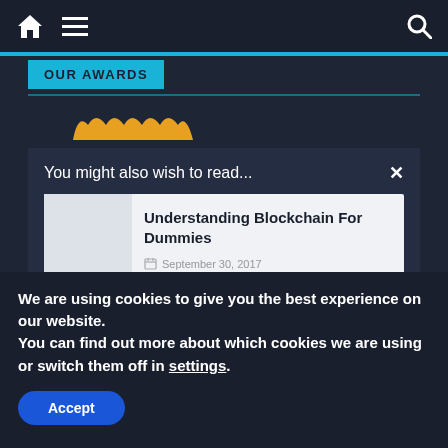Navigation bar with home icon, menu icon, and search icon
OUR AWARDS
[Figure (illustration): Gold decorative arc/crown shape]
You might also wish to read...
Understanding Blockchain For Dummies
September 30, 2017
We are using cookies to give you the best experience on our website. You can find out more about which cookies we are using or switch them off in settings.
Accept